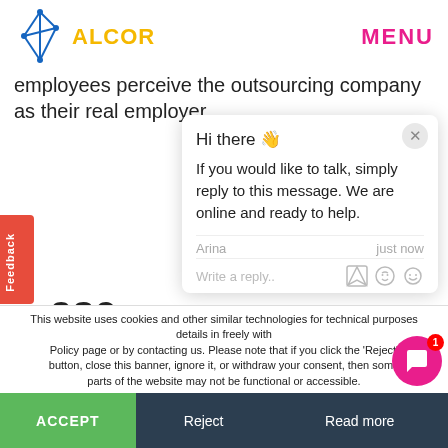[Figure (logo): Alcor company logo with geometric star/triangle icon in blue, text ALCOR in yellow]
MENU
employees perceive the outsourcing company as their real employer.
[Figure (screenshot): Chat popup widget with greeting 'Hi there 👋', message 'If you would like to talk, simply reply to this message. We are online and ready to help.', agent name Arina, timestamp just now, write a reply input bar with thumbs up, paperclip, and emoji icons]
This website uses cookies and other similar technologies for technical purposes details in freely with Policy page or by contacting us. Please note that if you click the 'Reject' button, close this banner, ignore it, or withdraw your consent, then some parts of the website may not be functional or accessible.
ACCEPT
Reject
Read more